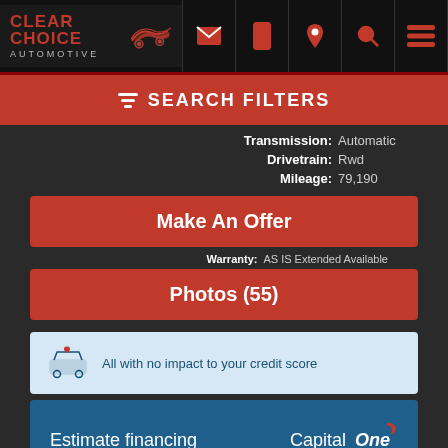[Figure (screenshot): Clear Choice Automotive logo with stylized car silhouette in red and white on dark background]
SEARCH FILTERS
Transmission: Automatic
Drivetrain: Rwd
Mileage: 79,190
Make An Offer
Warranty: AS IS Extended Available
Photos (55)
All with no impact to your credit score
Estimate financing
[Figure (logo): Capital One logo in white text with red swoosh on blue background]
[Figure (logo): Show Me The CARFAX logo]